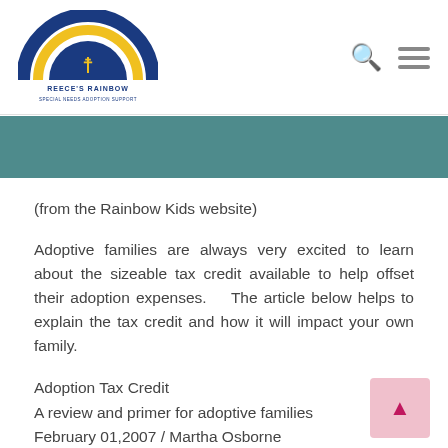Reece's Rainbow – Special Needs Adoption Support
(from the Rainbow Kids website)
Adoptive families are always very excited to learn about the sizeable tax credit available to help offset their adoption expenses.    The article below helps to explain the tax credit and how it will impact your own family.
Adoption Tax Credit
A review and primer for adoptive families
February 01,2007 / Martha Osborne